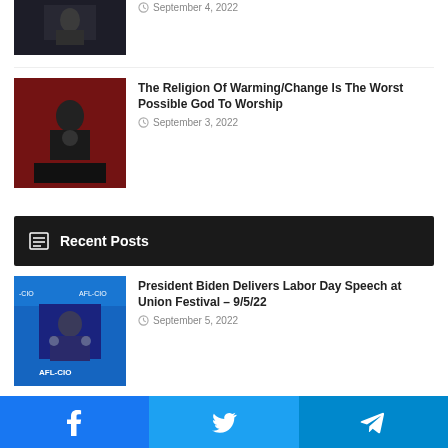[Figure (photo): Partial photo at top of page — person speaking at podium in dark setting]
September 4, 2022
[Figure (photo): Person speaking at podium with red lighting background]
The Religion Of Warming/Change Is The Worst Possible God To Worship
September 3, 2022
Recent Posts
[Figure (photo): President Biden at AFL-CIO podium with blue background]
President Biden Delivers Labor Day Speech at Union Festival – 9/5/22
September 5, 2022
[Figure (photo): Cartoon/illustration showing faces]
Birds of a Feather
September 5, 2022